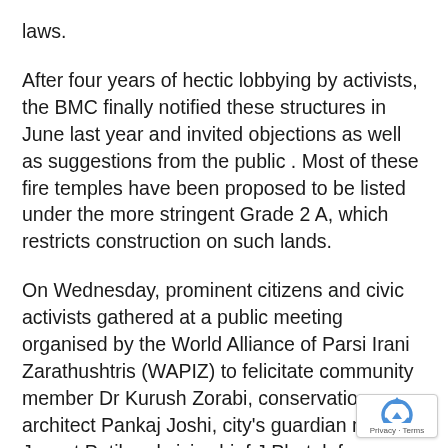laws.
After four years of hectic lobbying by activists, the BMC finally notified these structures in June last year and invited objections as well as suggestions from the public . Most of these fire temples have been proposed to be listed under the more stringent Grade 2 A, which restricts construction on such lands.
On Wednesday, prominent citizens and civic activists gathered at a public meeting organised by the World Alliance of Parsi Irani Zarathushtris (WAPIZ) to felicitate community member Dr Kurush Zorabi, conservation architect Pankaj Joshi, city's guardian minister Jayant Patil and civic chief J Phatak for pushing this proposal through.
[Figure (other): reCAPTCHA badge with circular arrow icon and 'Privacy - Terms' text]